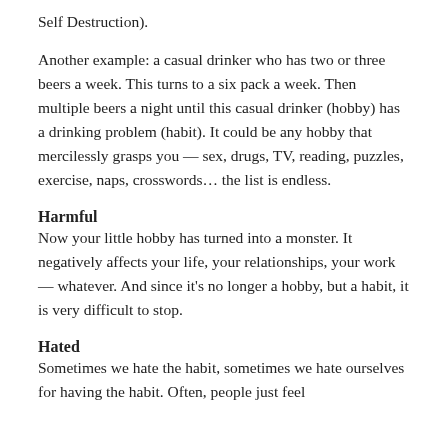Self Destruction).
Another example: a casual drinker who has two or three beers a week. This turns to a six pack a week. Then multiple beers a night until this casual drinker (hobby) has a drinking problem (habit). It could be any hobby that mercilessly grasps you — sex, drugs, TV, reading, puzzles, exercise, naps, crosswords… the list is endless.
Harmful
Now your little hobby has turned into a monster. It negatively affects your life, your relationships, your work — whatever. And since it's no longer a hobby, but a habit, it is very difficult to stop.
Hated
Sometimes we hate the habit, sometimes we hate ourselves for having the habit. Often, people just feel